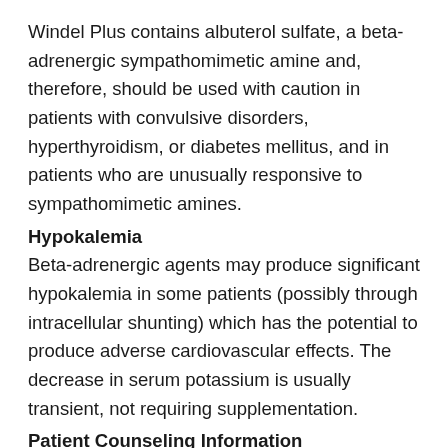Windel Plus contains albuterol sulfate, a beta-adrenergic sympathomimetic amine and, therefore, should be used with caution in patients with convulsive disorders, hyperthyroidism, or diabetes mellitus, and in patients who are unusually responsive to sympathomimetic amines.
Hypokalemia
Beta-adrenergic agents may produce significant hypokalemia in some patients (possibly through intracellular shunting) which has the potential to produce adverse cardiovascular effects. The decrease in serum potassium is usually transient, not requiring supplementation.
Patient Counseling Information
See FDA-approved Patient Labeling
Ocular Effects